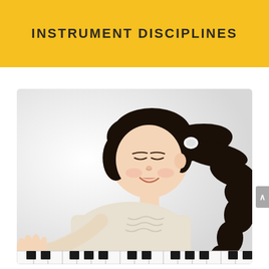INSTRUMENT DISCIPLINES
[Figure (photo): A young girl with dark hair in a ponytail, smiling and looking down at piano keys, wearing a cream-colored long-sleeve top, playing a keyboard/piano against a white background.]